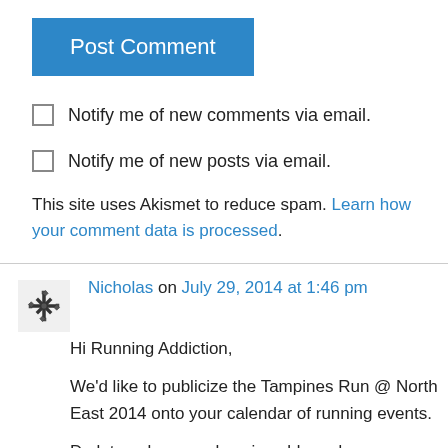[Figure (other): Blue 'Post Comment' button]
Notify me of new comments via email.
Notify me of new posts via email.
This site uses Akismet to reduce spam. Learn how your comment data is processed.
Nicholas on July 29, 2014 at 1:46 pm
Hi Running Addiction,

We'd like to publicize the Tampines Run @ North East 2014 onto your calendar of running events.

Do let me know on how i could send you our